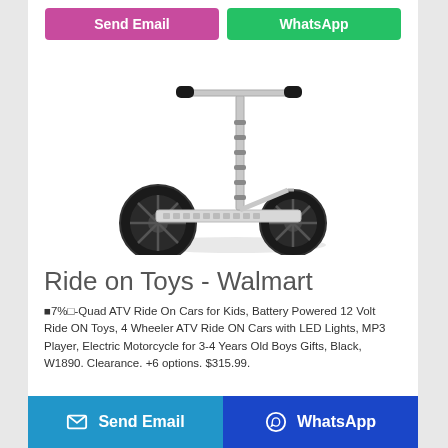[Figure (other): Send Email (pink/purple button) and WhatsApp (green button) at top]
[Figure (photo): White kick scooter with two large black wheels and adjustable T-bar handlebar]
Ride on Toys - Walmart
7% -Quad ATV Ride On Cars for Kids, Battery Powered 12 Volt Ride ON Toys, 4 Wheeler ATV Ride ON Cars with LED Lights, MP3 Player, Electric Motorcycle for 3-4 Years Old Boys Gifts, Black, W1890. Clearance. +6 options. $315.99.
[Figure (other): Bottom bar with Send Email (blue) and WhatsApp (dark blue) buttons with icons]